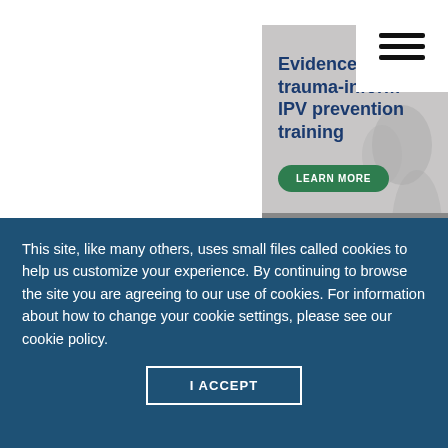[Figure (other): Navigation menu hamburger icon (three horizontal lines) on white background, top-right corner]
[Figure (screenshot): Advertisement banner for Strength at Home IPV prevention training program. Shows bold dark blue text 'Evidence-based trauma-informed IPV prevention training.' with a green 'LEARN MORE' button and the 'STRENGTH at HOME' logo with a house icon. Background shows grayscale people.]
[Figure (screenshot): Partial HIPAA COMP[LIANCE] banner in gray with white text and a pink/red house icon logo on the left.]
This site, like many others, uses small files called cookies to help us customize your experience. By continuing to browse the site you are agreeing to our use of cookies. For information about how to change your cookie settings, please see our cookie policy.
I ACCEPT